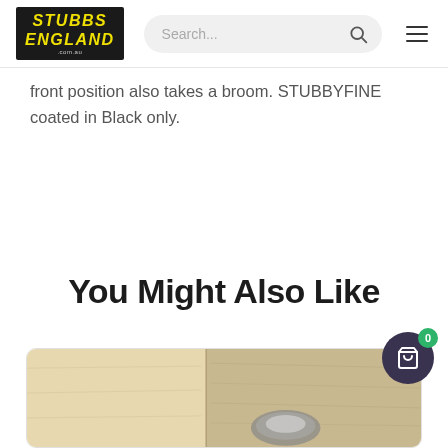STUBBS ENGLAND — Search bar and navigation
front position also takes a broom. STUBBYFINE coated in Black only.
You Might Also Like
[Figure (photo): Product photo showing wooden surface with metal fitting, partially visible at bottom of page]